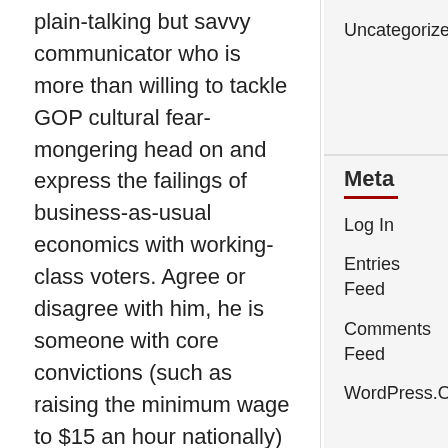plain-talking but savvy communicator who is more than willing to tackle GOP cultural fear-mongering head on and express the failings of business-as-usual economics with working-class voters. Agree or disagree with him, he is someone with core convictions (such as raising the minimum wage to $15 an hour nationally) who is willing to defend his positions directly. He seems to always have voter interests, rather than corporate ones in mind. Mostly so much
Uncategorized
Meta
Log In
Entries Feed
Comments Feed
WordPress.Org